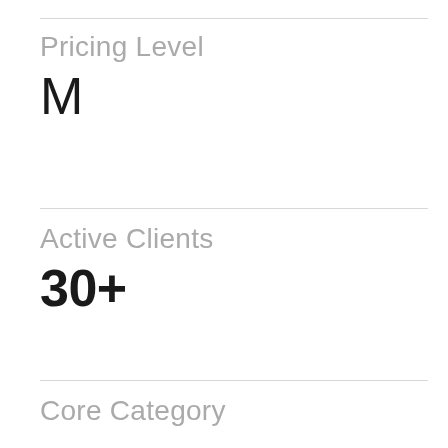Pricing Level
M
Active Clients
30+
Core Category